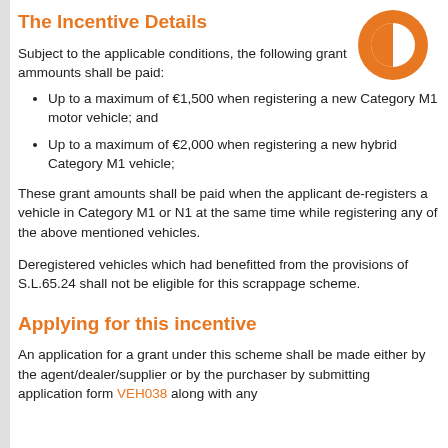The Incentive Details
Subject to the applicable conditions, the following grant ammounts shall be paid:
Up to a maximum of €1,500 when registering a new Category M1 motor vehicle; and
Up to a maximum of €2,000 when registering a new hybrid Category M1 vehicle;
These grant amounts shall be paid when the applicant de-registers a vehicle in Category M1 or N1 at the same time while registering any of the above mentioned vehicles.
Deregistered vehicles which had benefitted from the provisions of S.L.65.24 shall not be eligible for this scrappage scheme.
Applying for this incentive
An application for a grant under this scheme shall be made either by the agent/dealer/supplier or by the purchaser by submitting application form VEH038 along with any